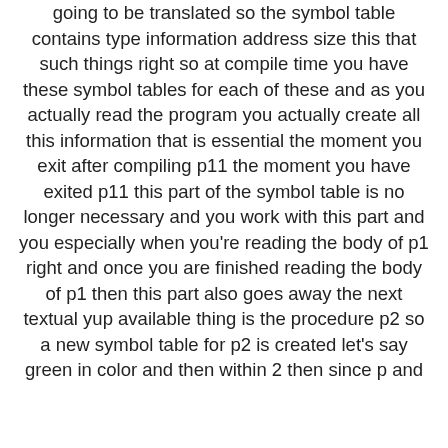going to be translated so the symbol table contains type information address size this that such things right so at compile time you have these symbol tables for each of these and as you actually read the program you actually create all this information that is essential the moment you exit after compiling p11 the moment you have exited p11 this part of the symbol table is no longer necessary and you work with this part and you especially when you're reading the body of p1 right and once you are finished reading the body of p1 then this part also goes away the next textual yup available thing is the procedure p2 so a new symbol table for p2 is created let's say green in color and then within 2 then since p and